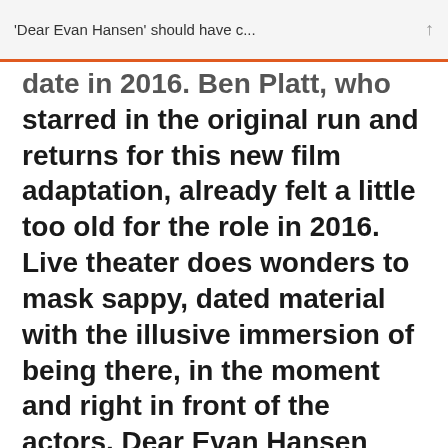'Dear Evan Hansen' should have c...
date in 2016. Ben Platt, who starred in the original run and returns for this new film adaptation, already felt a little too old for the role in 2016. Live theater does wonders to mask sappy, dated material with the illusive immersion of being there, in the moment and right in front of the actors. Dear Evan Hansen isn't a Cats-level misfire, but it's certainly not deserving of an